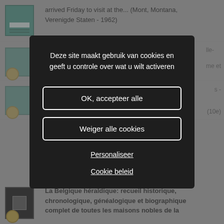arrived Friday to visit at the... (Mont, Montana, Verenigde Staten - 1962)
La Petit Marseillaise : journal quotidien fine s" ... lle- ...me et ...rijk -
(10e)
La Belgique héraldique: recueil historique, chronologique, généalogique et biographique complet de toutes les maisons nobles de la
[Figure (screenshot): Cookie consent modal overlay with dark background. Text: 'Deze site maakt gebruik van cookies en geeft u controle over wat u wilt activeren'. Two buttons: 'OK, accepteer alle' and 'Weiger alle cookies'. Two links: 'Personaliseer' and 'Cookie beleid'.]
Deze site maakt gebruik van cookies en geeft u controle over wat u wilt activeren
OK, accepteer alle
Weiger alle cookies
Personaliseer
Cookie beleid